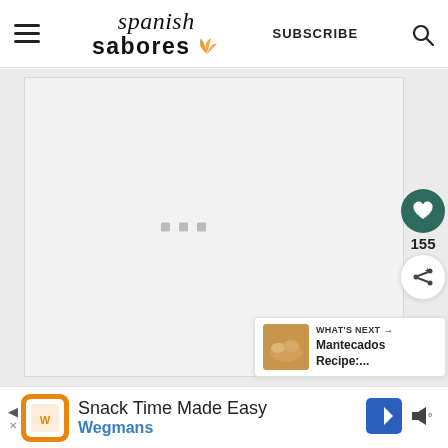Spanish Sabores — SUBSCRIBE
[Figure (screenshot): Main content area with loading placeholder (three small grey squares) on a light grey background]
[Figure (infographic): What's Next card: thumbnail of baked goods, label 'WHAT'S NEXT →', title 'Mantecados Recipe:...']
[Figure (screenshot): Advertisement banner: Wegmans 'Snack Time Made Easy' ad with orange logo, navigation arrow icon, and audio/mute icon]